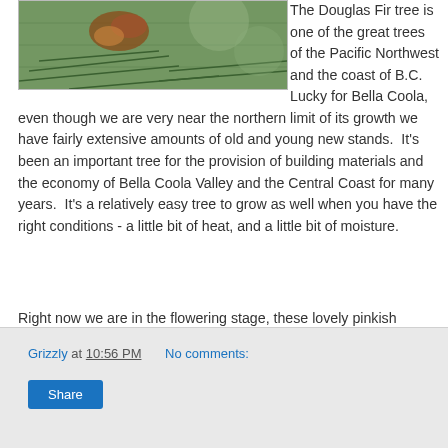[Figure (photo): Close-up photo of Douglas Fir tree with pinkish flowers/buds and green needles]
The Douglas Fir tree is one of the great trees of the Pacific Northwest and the coast of B.C.  Lucky for Bella Coola, even though we are very near the northern limit of its growth we have fairly extensive amounts of old and young new stands.  It's been an important tree for the provision of building materials and the economy of Bella Coola Valley and the Central Coast for many years.  It's a relatively easy tree to grow as well when you have the right conditions - a little bit of heat, and a little bit of moisture.

Right now we are in the flowering stage, these lovely pinkish flowers are what will eventually become the dry brown cones this fall producing seeds that the birds and squirrels love.
Grizzly
Grizzly at 10:56 PM   No comments:
Share